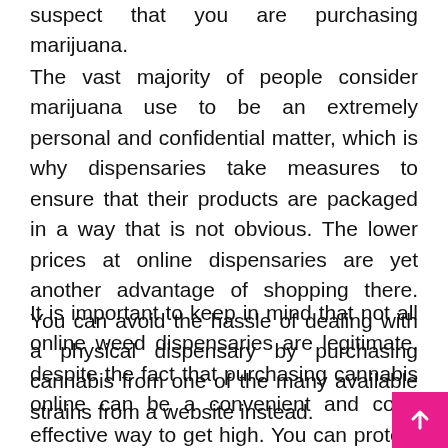suspect that you are purchasing marijuana.
The vast majority of people consider marijuana use to be an extremely personal and confidential matter, which is why dispensaries take measures to ensure that their products are packaged in a way that is not obvious. The lower prices at online dispensaries are yet another advantage of shopping there. You can avoid the hassle of dealing with a physical dispensary by purchasing cannabis from one of the many available strains from a website instead.
It is important to keep in mind that not all online weed dispensaries are legitimate, despite the fact that purchasing cannabis online can be a convenient and cost-effective way to get high. You can protect yourself from being taken advantage of by only shopping at reputable businesses. Before making a purchase, you have the